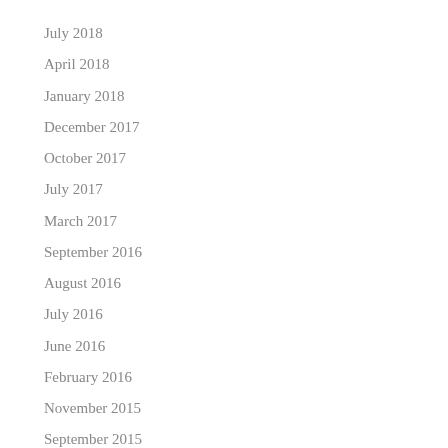July 2018
April 2018
January 2018
December 2017
October 2017
July 2017
March 2017
September 2016
August 2016
July 2016
June 2016
February 2016
November 2015
September 2015